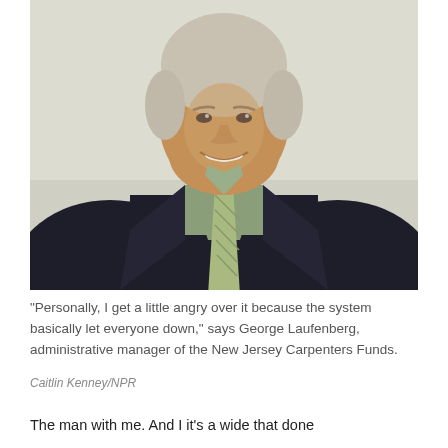[Figure (photo): Portrait photo of George Laufenberg, an older man with short white/gray hair, wearing a dark navy suit jacket, light green/sage button-down shirt, and a light green patterned tie. He is smiling at the camera against a light beige/cream background.]
"Personally, I get a little angry over it because the system basically let everyone down," says George Laufenberg, administrative manager of the New Jersey Carpenters Funds.
Caitlin Kenney/NPR
The man with me. And I it's a wide that done